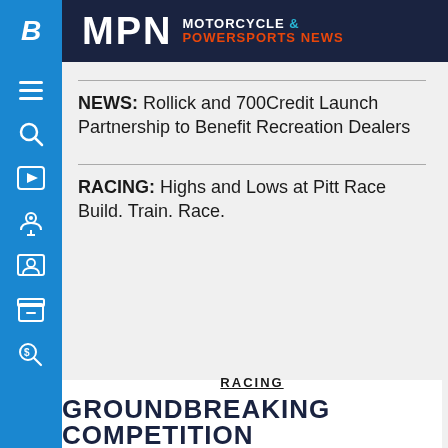MPN Motorcycle & Powersports News
NEWS: Rollick and 700Credit Launch Partnership to Benefit Recreation Dealers
RACING: Highs and Lows at Pitt Race Build. Train. Race.
RACING
GROUNDBREAKING COMPETITION